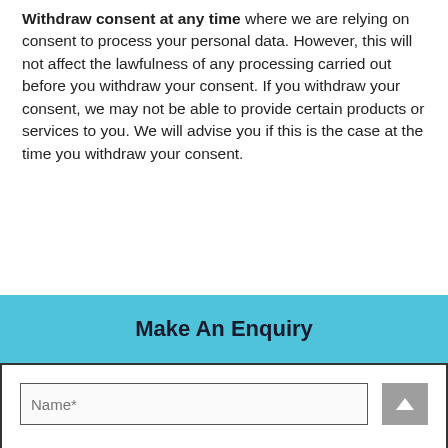Withdraw consent at any time where we are relying on consent to process your personal data. However, this will not affect the lawfulness of any processing carried out before you withdraw your consent. If you withdraw your consent, we may not be able to provide certain products or services to you. We will advise you if this is the case at the time you withdraw your consent.
Make An Enquiry
[Figure (other): Web form input field with placeholder text 'Name*' and a grey scroll-to-top button with an upward arrow]